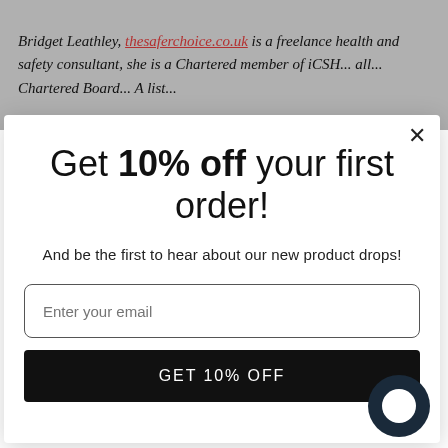Bridget Leathley, thesaferchoice.co.uk is a freelance health and safety consultant, she is a Chartered member of...
Get 10% off your first order!
And be the first to hear about our new product drops!
Enter your email
GET 10% OFF